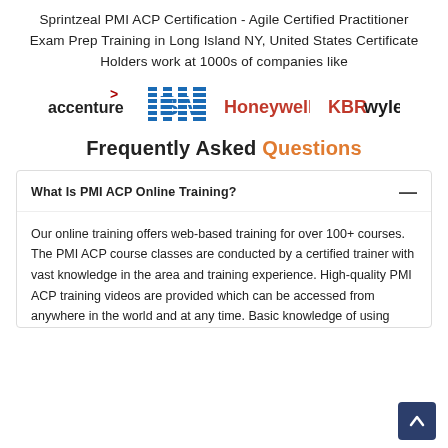Sprintzeal PMI ACP Certification - Agile Certified Practitioner Exam Prep Training in Long Island NY, United States Certificate Holders work at 1000s of companies like
[Figure (logo): Company logos: Accenture, IBM, Honeywell, KBRwyle]
Frequently Asked Questions
What Is PMI ACP Online Training?
Our online training offers web-based training for over 100+ courses. The PMI ACP course classes are conducted by a certified trainer with vast knowledge in the area and training experience. High-quality PMI ACP training videos are provided which can be accessed from anywhere in the world and at any time. Basic knowledge of using